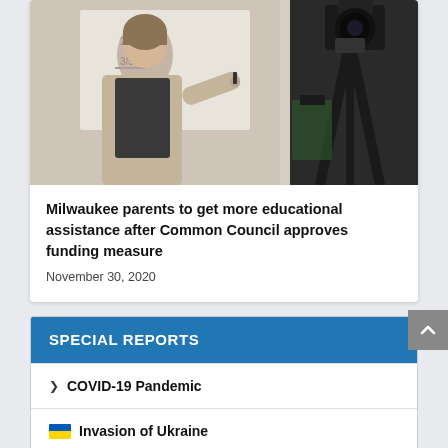[Figure (photo): A woman writing on a whiteboard with a camera tripod visible on the right side]
Milwaukee parents to get more educational assistance after Common Council approves funding measure
November 30, 2020
SPECIAL REPORTS
COVID-19 Pandemic
Invasion of Ukraine